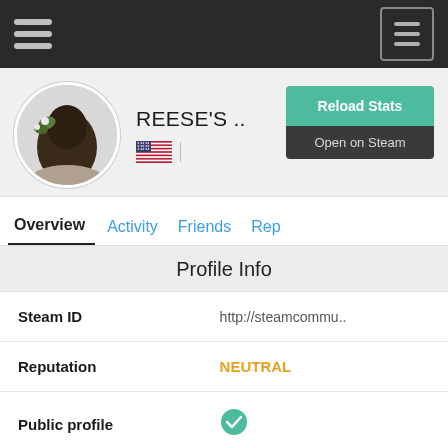[Figure (screenshot): Dark navigation bar with hamburger menu icon on the left and a bordered hamburger icon on the right]
[Figure (photo): Circular avatar photo of a person with dark hair and floral accessories]
REESE'S ..
[Figure (illustration): US flag emoji]
Reload Stats
Open on Steam
Overview  Activity  Friends  Rep
Profile Info
| Steam ID | http://steamcommu.. |
| Reputation | NEUTRAL |
| Public profile | ✓ |
| Country | United States |